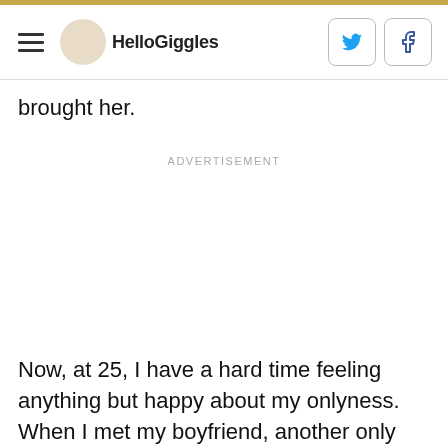HelloGiggles
brought her.
ADVERTISEMENT
Now, at 25, I have a hard time feeling anything but happy about my onlyness. When I met my boyfriend, another only child, we naturally bonded